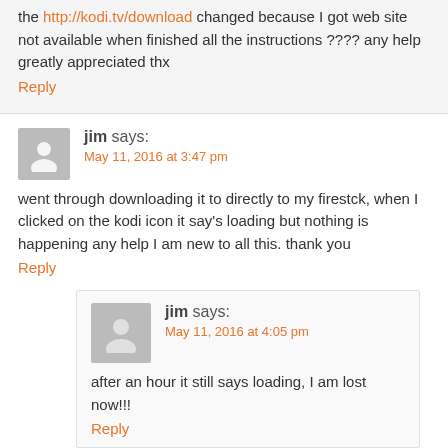the http://kodi.tv/download changed because I got web site not available when finished all the instructions ???? any help greatly appreciated thx
Reply
jim says:
May 11, 2016 at 3:47 pm
went through downloading it to directly to my firestck, when I clicked on the kodi icon it say's loading but nothing is happening any help I am new to all this. thank you
Reply
jim says:
May 11, 2016 at 4:05 pm
after an hour it still says loading, I am lost now!!!
Reply